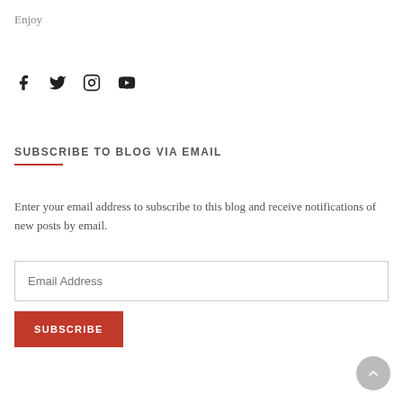Enjoy
[Figure (other): Social media icons: Facebook, Twitter, Instagram, YouTube]
SUBSCRIBE TO BLOG VIA EMAIL
Enter your email address to subscribe to this blog and receive notifications of new posts by email.
Email Address
SUBSCRIBE